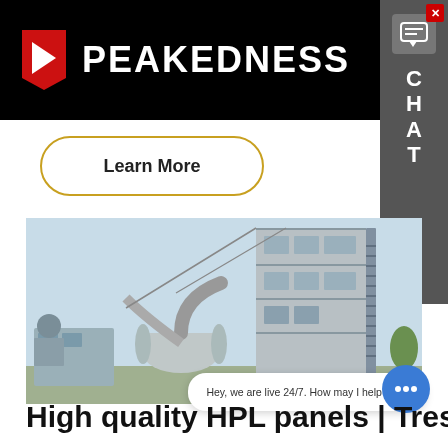PEAKEDNESS
Learn More
[Figure (photo): Large industrial asphalt or concrete mixing plant with tall multi-story tower structure, metal staircases, cylindrical drum mixer, pipes and industrial equipment against a light blue sky background.]
Hey, we are live 24/7. How may I help you?
High quality HPL panels | Trespa